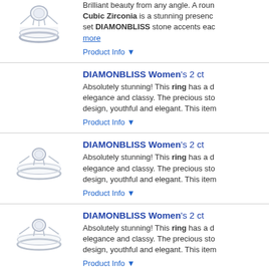[Figure (photo): Silver solitaire ring with round stone, top view]
Brilliant beauty from any angle. A round Cubic Zirconia is a stunning presence set DIAMONBLISS stone accents each more
Product Info ▼
DIAMONBLISS Women's 2 ct
Absolutely stunning! This ring has a d elegance and classy. The precious sto design, youthful and elegant. This item
Product Info ▼
[Figure (photo): Silver solitaire ring side view]
DIAMONBLISS Women's 2 ct
Absolutely stunning! This ring has a d elegance and classy. The precious sto design, youthful and elegant. This item
Product Info ▼
[Figure (photo): Silver solitaire ring side view]
DIAMONBLISS Women's 2 ct
Absolutely stunning! This ring has a d elegance and classy. The precious sto design, youthful and elegant. This item
Product Info ▼
[Figure (photo): Silver ornate ring with large center stone and accents]
DIAMONBLISS Women's 100
You may not actually be a queen or a p puts you one step closer to the throne. DIAMONBLISS 4 ct. t.w. Cubic Zirco